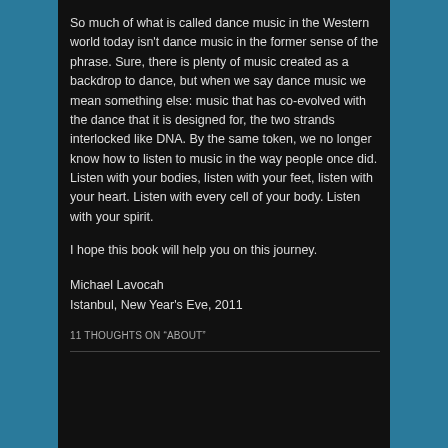So much of what is called dance music in the Western world today isn't dance music in the former sense of the phrase. Sure, there is plenty of music created as a backdrop to dance, but when we say dance music we mean something else: music that has co-evolved with the dance that it is designed for, the two strands interlocked like DNA. By the same token, we no longer know how to listen to music in the way people once did. Listen with your bodies, listen with your feet, listen with your heart. Listen with every cell of your body. Listen with your spirit.
I hope this book will help you on this journey.
Michael Lavocah
Istanbul, New Year's Eve, 2011
11 THOUGHTS ON "ABOUT"